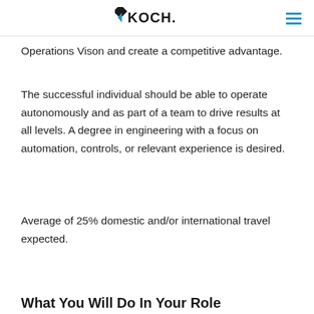KOCH.
Operations Vison and create a competitive advantage.
The successful individual should be able to operate autonomously and as part of a team to drive results at all levels. A degree in engineering with a focus on automation, controls, or relevant experience is desired.
Average of 25% domestic and/or international travel expected.
What You Will Do In Your Role